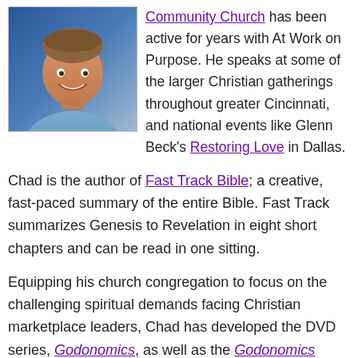[Figure (photo): Headshot photo of a smiling man in a blue shirt against a blue background]
Community Church has been active for years with At Work on Purpose. He speaks at some of the larger Christian gatherings throughout greater Cincinnati, and national events like Glenn Beck's Restoring Love in Dallas.
Chad is the author of Fast Track Bible; a creative, fast-paced summary of the entire Bible. Fast Track summarizes Genesis to Revelation in eight short chapters and can be read in one sitting.
Equipping his church congregation to focus on the challenging spiritual demands facing Christian marketplace leaders, Chad has developed the DVD series, Godonomics, as well as the Godonomics book. This six-part series creates a compelling Biblical perspective on